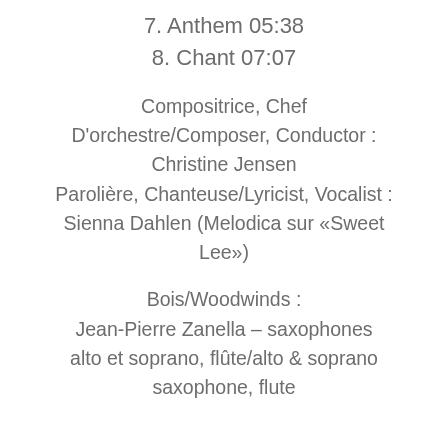7. Anthem 05:38
8. Chant 07:07
Compositrice, Chef D'orchestre/Composer, Conductor : Christine Jensen
Parolière, Chanteuse/Lyricist, Vocalist : Sienna Dahlen (Melodica sur «Sweet Lee»)
Bois/Woodwinds :
Jean-Pierre Zanella – saxophones alto et soprano, flûte/alto & soprano saxophone, flute